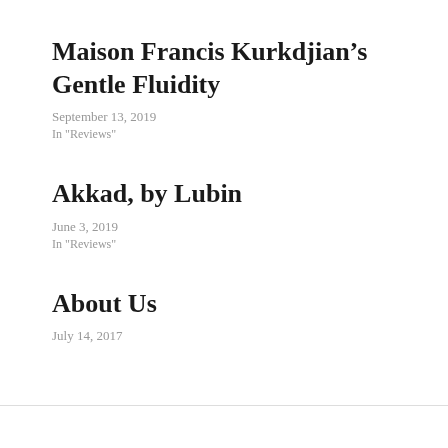Maison Francis Kurkdjian’s Gentle Fluidity
September 13, 2019
In "Reviews"
Akkad, by Lubin
June 3, 2019
In "Reviews"
About Us
July 14, 2017